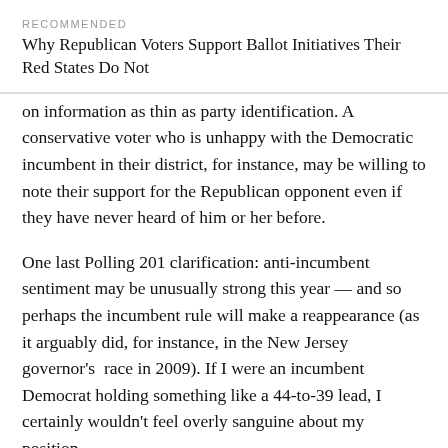RECOMMENDED
Why Republican Voters Support Ballot Initiatives Their Red States Do Not
on information as thin as party identification. A conservative voter who is unhappy with the Democratic incumbent in their district, for instance, may be willing to note their support for the Republican opponent even if they have never heard of him or her before.
One last Polling 201 clarification: anti-incumbent sentiment may be unusually strong this year — and so perhaps the incumbent rule will make a reappearance (as it arguably did, for instance, in the New Jersey governor's  race in 2009). If I were an incumbent Democrat holding something like a 44-to-39 lead, I certainly wouldn't feel overly sanguine about my position.